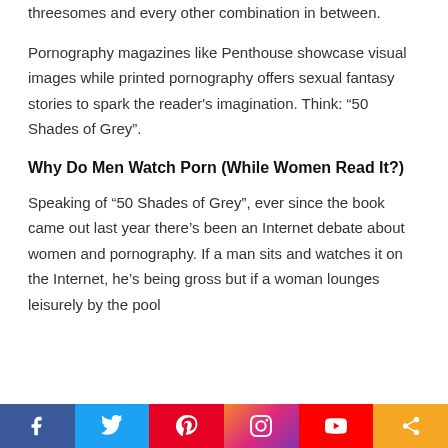threesomes and every other combination in between.
Pornography magazines like Penthouse showcase visual images while printed pornography offers sexual fantasy stories to spark the reader's imagination. Think: “50 Shades of Grey”.
Why Do Men Watch Porn (While Women Read It?)
Speaking of “50 Shades of Grey”, ever since the book came out last year there’s been an Internet debate about women and pornography. If a man sits and watches it on the Internet, he’s being gross but if a woman lounges leisurely by the pool
Social share bar: Facebook, Twitter, Pinterest, Instagram, YouTube, Share